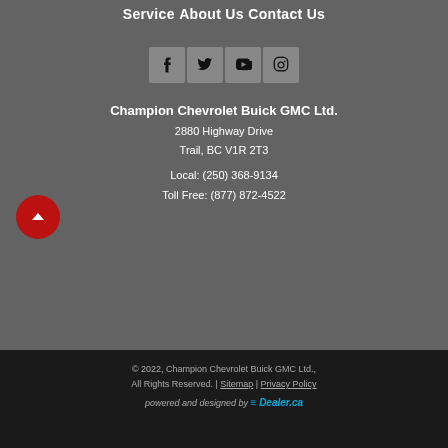Service
About Us
Contact Us
[Figure (other): Social media icons: Facebook, Twitter, YouTube, Instagram]
Champion Chevrolet Buick GMC Ltd.
2880 Highway Drive
Trail, BC V1R 2T3
Local: (250) 368-9134
Toll Free: (877) 872-4522
© 2022, Champion Chevrolet Buick GMC Ltd., All Rights Reserved. | Sitemap | Privacy Policy
powered and designed by EDealer.ca